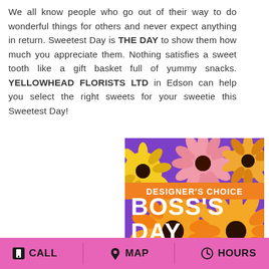We all know people who go out of their way to do wonderful things for others and never expect anything in return. Sweetest Day is THE DAY to show them how much you appreciate them. Nothing satisfies a sweet tooth like a gift basket full of yummy snacks. YELLOWHEAD FLORISTS LTD in Edson can help you select the right sweets for your sweetie this Sweetest Day!
[Figure (illustration): Promotional floral image with orange, pink, and yellow gerbera daisies on a purple background. Text overlay reads 'DESIGNER'S CHOICE' in white on an orange banner, and 'BOSS'S DAY' in large white bold text below.]
CALL   MAP   HOURS